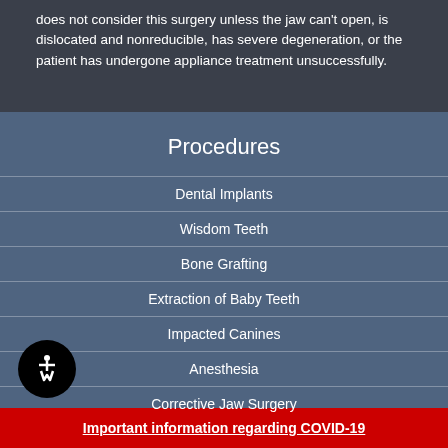does not consider this surgery unless the jaw can't open, is dislocated and nonreducible, has severe degeneration, or the patient has undergone appliance treatment unsuccessfully.
Procedures
Dental Implants
Wisdom Teeth
Bone Grafting
Extraction of Baby Teeth
Impacted Canines
Anesthesia
Corrective Jaw Surgery
Important information regarding COVID-19